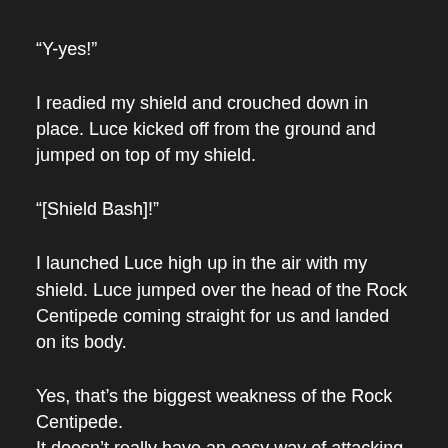“Y-yes!”
I readied my shield and crouched down in place. Luce kicked off from the ground and jumped on top of my shield.
“[Shield Bash]!”
I launched Luce high up in the air with my shield. Luce jumped over the head of the Rock Centipede coming straight for us and landed on its body.
Yes, that’s the biggest weakness of the Rock Centipede.
It doesn’t really have an easy way of attacking